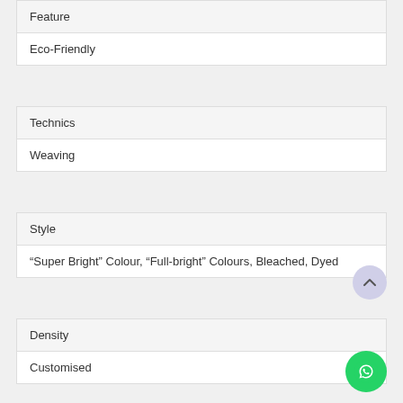| Feature | Eco-Friendly |
| --- | --- |
| Feature |
| Eco-Friendly |
| Technics | Weaving |
| --- | --- |
| Technics |
| Weaving |
| Style | Value |
| --- | --- |
| Style |
| “Super Bright” Colour, “Full-bright” Colours, Bleached, Dyed |
| Density | Customised |
| --- | --- |
| Density |
| Customised |
| Industrial Use |
| --- |
| Industrial Use |